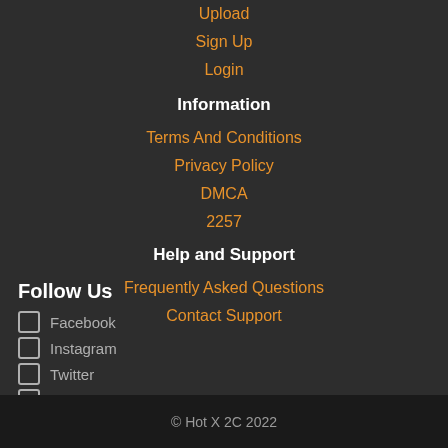Upload
Sign Up
Login
Information
Terms And Conditions
Privacy Policy
DMCA
2257
Help and Support
Frequently Asked Questions
Contact Support
Follow Us
Facebook
Instagram
Twitter
Reddit
© Hot X 2C 2022